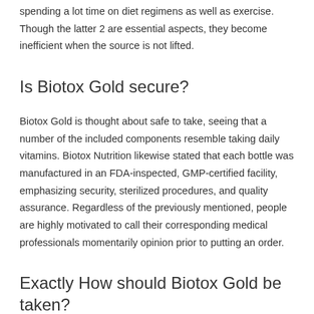spending a lot time on diet regimens as well as exercise. Though the latter 2 are essential aspects, they become inefficient when the source is not lifted.
Is Biotox Gold secure?
Biotox Gold is thought about safe to take, seeing that a number of the included components resemble taking daily vitamins. Biotox Nutrition likewise stated that each bottle was manufactured in an FDA-inspected, GMP-certified facility, emphasizing security, sterilized procedures, and quality assurance. Regardless of the previously mentioned, people are highly motivated to call their corresponding medical professionals momentarily opinion prior to putting an order.
Exactly How should Biotox Gold be taken?
10 decreases of Biotox Gold need to be taken three times a day for